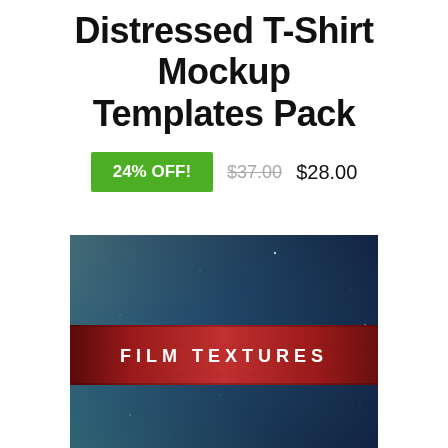Distressed T-Shirt Mockup Templates Pack
24% OFF!  $37.00  $28.00
[Figure (illustration): Film texture image with a dark blue/teal background and a red diagonal band across the center with the text 'FILM TEXTURES' in white capital letters]